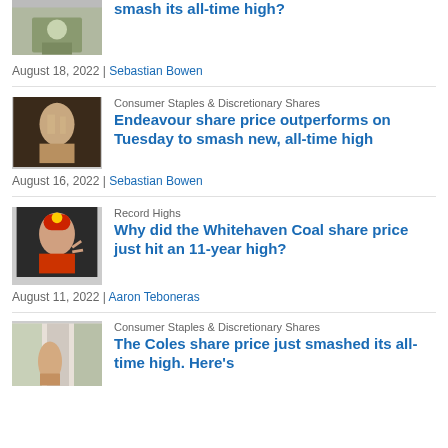[Figure (photo): Partial photo of person with shopping cart at top of page]
Why did the Coles share price just smash its all-time high?
August 18, 2022 | Sebastian Bowen
Consumer Staples & Discretionary Shares
[Figure (photo): Man holding a drink, smiling]
Endeavour share price outperforms on Tuesday to smash new, all-time high
August 16, 2022 | Sebastian Bowen
Record Highs
[Figure (photo): Miner with red helmet giving thumbs up]
Why did the Whitehaven Coal share price just hit an 11-year high?
August 11, 2022 | Aaron Teboneras
Consumer Staples & Discretionary Shares
[Figure (photo): Person in supermarket aisle with trolley]
The Coles share price just smashed its all-time high. Here's